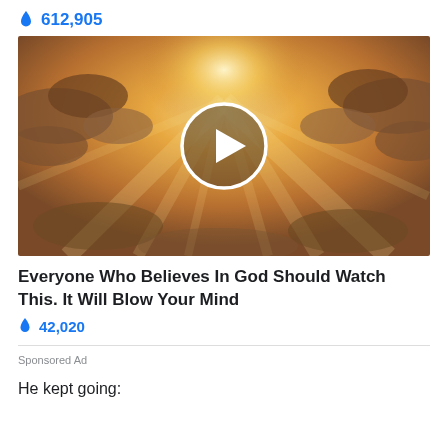🔥 612,905
[Figure (photo): Thumbnail image of sunrays breaking through dramatic golden clouds with a circular white play button overlay in the center]
Everyone Who Believes In God Should Watch This. It Will Blow Your Mind
🔥 42,020
Sponsored Ad
He kept going: